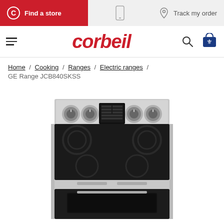Find a store | Track my order
corbeil
Home / Cooking / Ranges / Electric ranges / GE Range JCB840SKSS
[Figure (photo): Stainless steel GE electric range JCB840SKSS with black ceramic cooktop, four burners, digital control panel, and oven drawer visible]